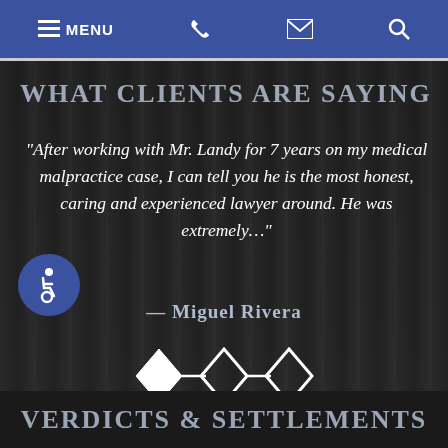≡ MENU  📞  ✉  🔍
WHAT CLIENTS ARE SAYING
“After working with Mr. Landy for 7 years on my medical malpractice case, I can tell you he is the most honest, caring and experienced lawyer around. He was extremely...”
— Miguel Rivera
[Figure (illustration): Three diamond shapes connected by horizontal lines, used as a decorative divider]
VERDICTS & SETTLEMENTS